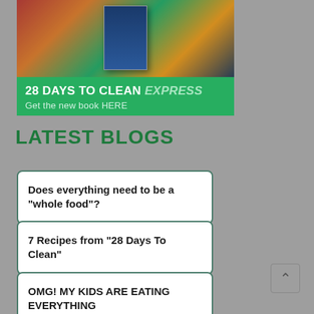[Figure (photo): Book advertisement banner for '28 Days To Clean Express' with food collage image and green promotional strip]
LATEST BLOGS
Does everything need to be a "whole food"?
7 Recipes from "28 Days To Clean"
OMG! MY KIDS ARE EATING EVERYTHING